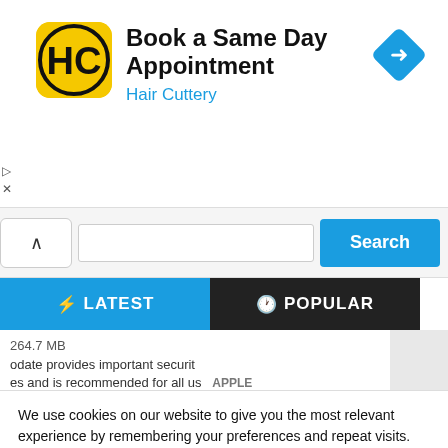[Figure (screenshot): Hair Cuttery advertisement banner with logo, title 'Book a Same Day Appointment', subtitle 'Hair Cuttery', and a blue diamond navigation icon]
[Figure (screenshot): Search bar with up chevron, text input field, and blue Search button]
[Figure (screenshot): Tab bar with blue LATEST tab (lightning icon) and black POPULAR tab (clock icon)]
[Figure (screenshot): Content preview showing '264.7 MB', partial text about Apple update, and APPLE label]
We use cookies on our website to give you the most relevant experience by remembering your preferences and repeat visits. By clicking “Accept All”, you consent to the use of ALL the cookies. However, you may visit "Cookie Settings" to provide a controlled consent.